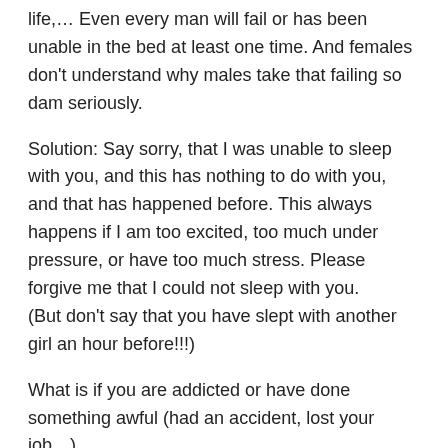life,… Even every man will fail or has been unable in the bed at least one time. And females don't understand why males take that failing so dam seriously.
Solution: Say sorry, that I was unable to sleep with you, and this has nothing to do with you, and that has happened before. This always happens if I am too excited, too much under pressure, or have too much stress. Please forgive me that I could not sleep with you.
(But don't say that you have slept with another girl an hour before!!!)
What is if you are addicted or have done something awful (had an accident, lost your job…).